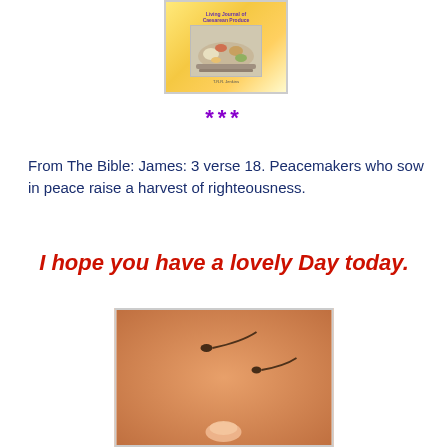[Figure (photo): Book cover showing food items in a cooking tray with a yellow gradient background and purple title text]
***
From The Bible: James: 3 verse 18. Peacemakers who sow in peace raise a harvest of righteousness.
I hope you have a lovely Day today.
[Figure (photo): Close-up photo on orange/warm background showing what appears to be sperm cells and a finger or small object, blurry microscopic or macro image]